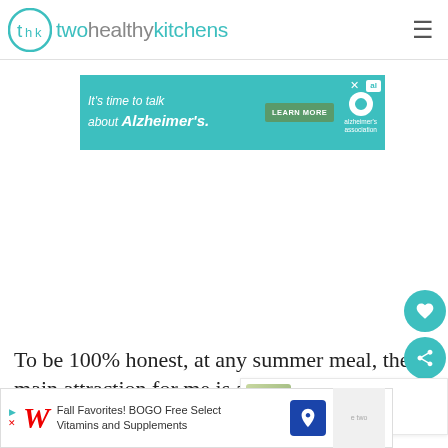twohealthykitchens
[Figure (screenshot): Advertisement banner for Alzheimer's Association: 'It's time to talk about Alzheimer's.' with LEARN MORE button and alzheimer's association logo]
To be 100% honest, at any summer meal, the main attraction for me is almost never the main dish. I'd rather pile my plate with a variety of beautiful salads, sampling all the
[Figure (screenshot): WHAT'S NEXT panel showing Easy Crockpot Recipes for...]
[Figure (screenshot): Bottom advertisement: Walgreens Fall Favorites! BOGO Free Select Vitamins and Supplements]